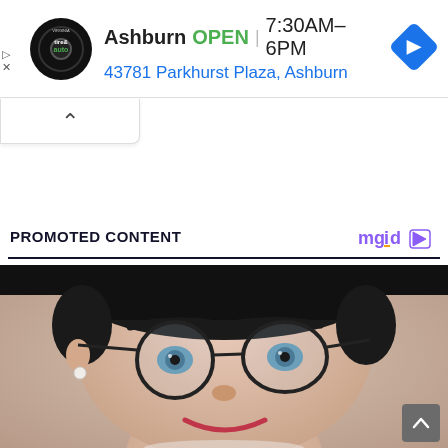[Figure (screenshot): Ad banner for Virginia Tire & Auto Ashburn location showing logo, OPEN status, hours 7:30AM-6PM, and address 43781 Parkhurst Plaza, Ashburn with navigation icon]
[Figure (other): Collapsed panel with upward chevron arrow]
PROMOTED CONTENT
[Figure (logo): mgid logo with play button icon]
[Figure (photo): Close-up portrait of a woman with short dark hair, glasses, blue eyes, pearl earring, and red lipstick, smiling]